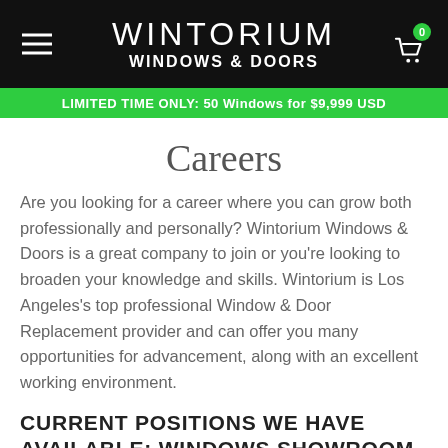WINTORIUM WINDOWS & DOORS
LIMITED TIME ONLY: 50 Windows for $9,999 USD
Careers
Are you looking for a career where you can grow both professionally and personally? Wintorium Windows & Doors is a great company to join or you're looking to broaden your knowledge and skills. Wintorium is Los Angeles's top professional Window & Door Replacement provider and can offer you many opportunities for advancement, along with an excellent working environment.
CURRENT POSITIONS WE HAVE AVAILABLE: WINDOWS SHOWROOM MANAGER